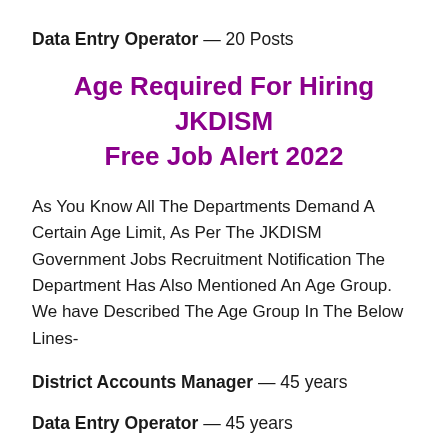Data Entry Operator — 20 Posts
Age Required For Hiring JKDISM Free Job Alert 2022
As You Know All The Departments Demand A Certain Age Limit, As Per The JKDISM Government Jobs Recruitment Notification The Department Has Also Mentioned An Age Group. We have Described The Age Group In The Below Lines-
District Accounts Manager — 45 years
Data Entry Operator — 45 years
★Relaxation in the upper age limit is